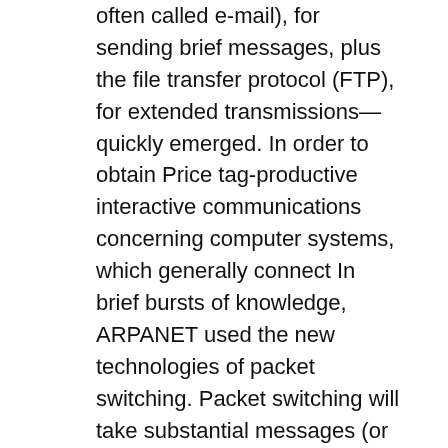often called e-mail), for sending brief messages, plus the file transfer protocol (FTP), for extended transmissions—quickly emerged. In order to obtain Price tag-productive interactive communications concerning computer systems, which generally connect In brief bursts of knowledge, ARPANET used the new technologies of packet switching. Packet switching will take substantial messages (or chunks of Laptop facts) and breaks them into more compact, workable parts (called packets) that can travel independently more than any available circuit to your focus on destination, the place the parts are reassembled. As a result, unlike standard voice communications, packet switching isn't going to need a single devoted circuit